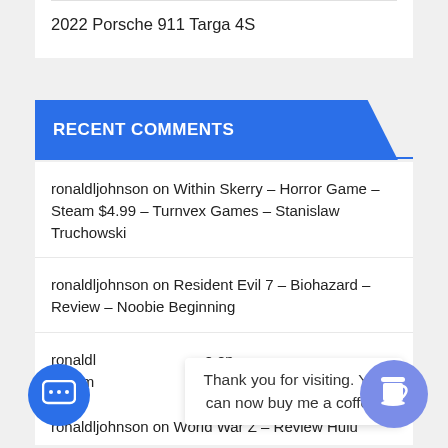Prints
2022 Porsche 911 Targa 4S
RECENT COMMENTS
ronaldljohnson on Within Skerry – Horror Game – Steam $4.99 – Turnvex Games – Stanislaw Truchowski
ronaldljohnson on Resident Evil 7 – Biohazard – Review – Noobie Beginning
Thank you for visiting. You can now buy me a coffee!
ronaldljohnson on World War Z – Review Hulu